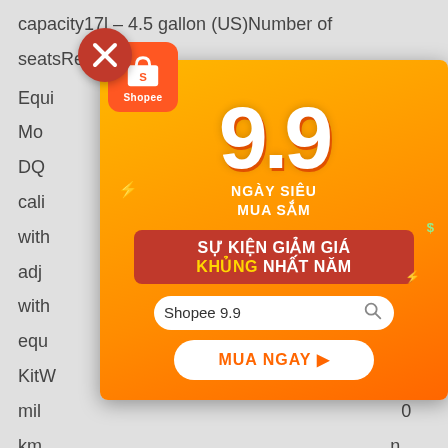capacity17l – 4.5 gallon (US)Number of seatsRed seat
EquipmentStandard EquipmentRiding Mode
DQ...tyre calibrated...EC with...adj...
with...equipment...
KitW...mil...0 km...(15...)
Engineering and Compensation Standard full...
[Figure (screenshot): Shopee 9.9 advertising overlay popup with orange background. Shows large '9.9' text, 'NGAY SIEU MUA SAM' subtitle, red sale button 'SU KIEN GIAM GIA KHUNG NHAT NAM', search bar 'Shopee 9.9', and 'MUA NGAY' button. Has close X button top left and Shopee logo.]